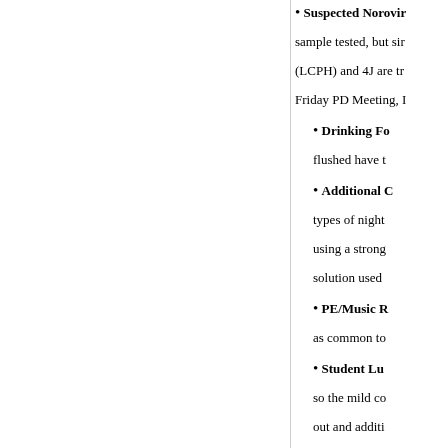Suspected Norovirus: sample tested, but since (LCPH) and 4J are tr... Friday PD Meeting, ...
Drinking F... flushed have t...
Additional C... types of night... using a strong... solution used...
PE/Music R... as common to...
Student Lu... so the mild co... out and additi... trays instead o...